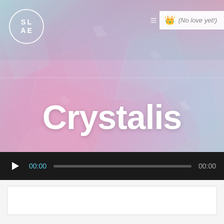[Figure (screenshot): Website screenshot showing a music player page titled 'Crystalis' with a crystal/gem close-up photo background in pastel pink and blue tones. Top-left has a circular logo with 'SL AE'. Top-right has a hamburger menu and a playlist panel showing a crown icon and text '(No love yet!)'. Center shows large white bold text 'Crystalis'. Bottom has a dark audio player bar with play button, time codes '00:00' on both ends, and a progress track.]
SL AE
(No love yet!)
Crystalis
00:00
00:00